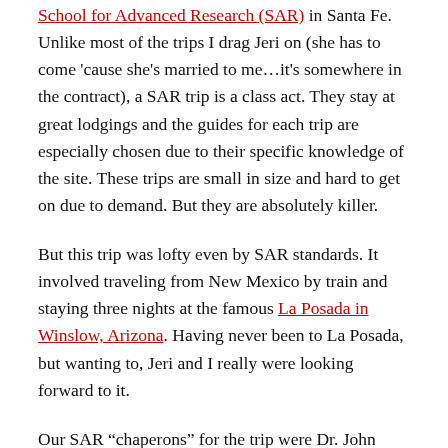School for Advanced Research (SAR) in Santa Fe. Unlike most of the trips I drag Jeri on (she has to come 'cause she's married to me…it's somewhere in the contract), a SAR trip is a class act. They stay at great lodgings and the guides for each trip are especially chosen due to their specific knowledge of the site. These trips are small in size and hard to get on due to demand. But they are absolutely killer.
But this trip was lofty even by SAR standards. It involved traveling from New Mexico by train and staying three nights at the famous La Posada in Winslow, Arizona. Having never been to La Posada, but wanting to, Jeri and I really were looking forward to it.
Our SAR “chaperons” for the trip were Dr. John Kanter, archaeologist and Vice President of SAR and Janie Miller, SAR’s field trip coordinator. They had the tough job of herding